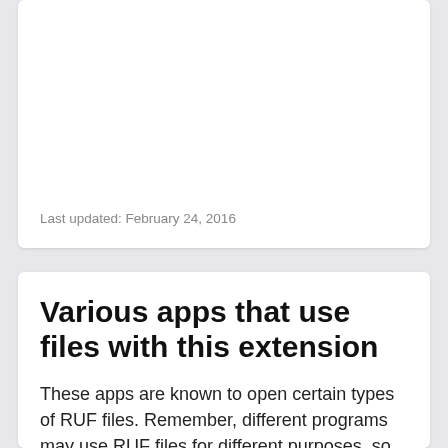Last updated: February 24, 2016
Various apps that use files with this extension
These apps are known to open certain types of RUF files. Remember, different programs may use RUF files for different purposes, so you may need to try out a few of them to be able to open your specific file.